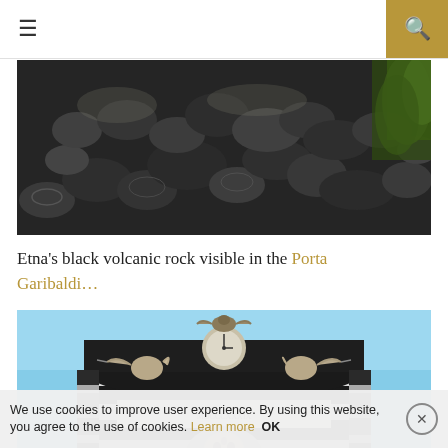☰ [hamburger menu] [search icon]
[Figure (photo): Etna's black volcanic rocky ground, dark basalt rocks scattered across the landscape with some green vegetation visible at the right edge]
Etna's black volcanic rock visible in the Porta Garibaldi...
[Figure (photo): Porta Garibaldi gate in Catania, Sicily — ornate Baroque architecture with black basalt and white limestone alternating stripes, topped with winged angel statues blowing trumpets and an eagle with a clock in the center, against a clear blue sky]
We use cookies to improve user experience. By using this website, you agree to the use of cookies. Learn more  OK